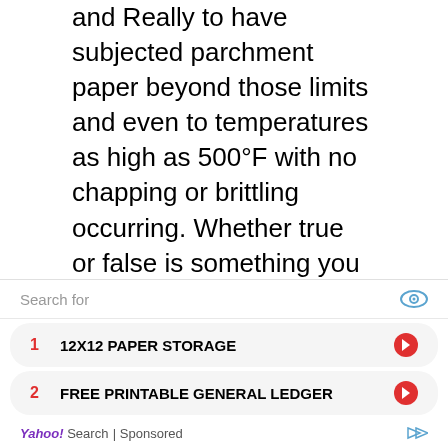and Really to have subjected parchment paper beyond those limits and even to temperatures as high as 500°F with no chapping or brittling occurring. Whether true or false is something you can find out by baking pizza or high heat turkey (500°F) with the paper (cause i normally don't play with my kitchen like that). Make sure to stay close with a fire extinguisher in case of any fire outbreak. Another principal property of parchment paper is that it can withstand soaking and boiling without separating into it's component fibers unlike most other papers. This means that you can safely use it to packet water based foods or line the bottom of batters with worrying that it may tear or completely soak. That said, here are the safety tips for using parchment
[Figure (other): Yahoo Search sponsored ad unit with search bar showing 'Search for', two ad results: 1. 12X12 PAPER STORAGE, 2. FREE PRINTABLE GENERAL LEDGER, with Yahoo! Search | Sponsored footer]